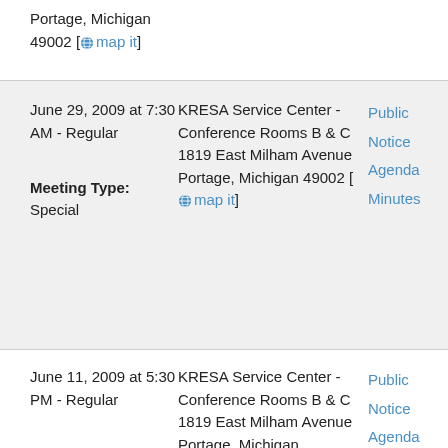Portage, Michigan 49002 [map it]
| Date/Type | Location | Links |
| --- | --- | --- |
| June 29, 2009 at 7:30 AM - Special
Meeting Type: Special | KRESA Service Center - Conference Rooms B & C
1819 East Milham Avenue
Portage, Michigan 49002 [map it] | Public Notice
Agenda
Minutes |
| June 11, 2009 at 5:30 PM - Regular
Meeting Type: Regular | KRESA Service Center - Conference Rooms B & C
1819 East Milham Avenue
Portage, Michigan | Public Notice
Agenda
Minutes |